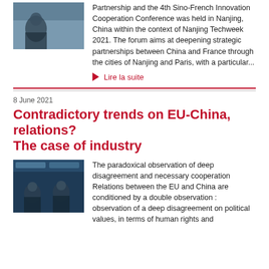Partnership and the 4th Sino-French Innovation Cooperation Conference was held in Nanjing, China within the context of Nanjing Techweek 2021. The forum aims at deepening strategic partnerships between China and France through the cities of Nanjing and Paris, with a particular...
Lire la suite
8 June 2021
Contradictory trends on EU-China, relations? The case of industry
The paradoxical observation of deep disagreement and necessary cooperation Relations between the EU and China are conditioned by a double observation : observation of a deep disagreement on political values, in terms of human rights and